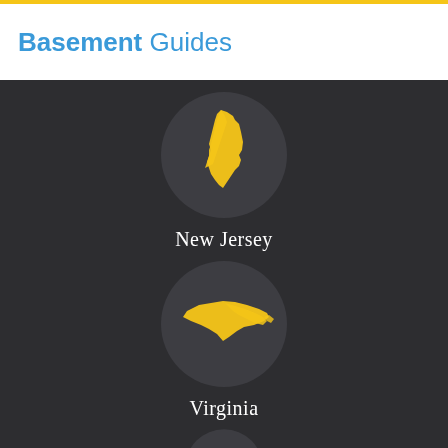[Figure (logo): Basement Guides logo with bold 'Basement' and regular weight 'Guides' in blue text, with a yellow top border]
[Figure (infographic): Dark background infographic showing US state icons as yellow silhouettes inside dark circular badges. States shown: New Jersey (top), Virginia (middle), South Carolina (partially visible at bottom). Each state has its name in white text below the circle.]